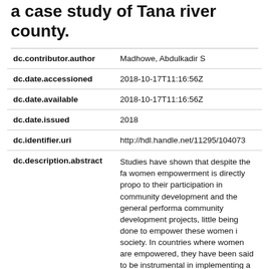a case study of Tana river county.
| Field | Value |
| --- | --- |
| dc.contributor.author | Madhowe, Abdulkadir S |
| dc.date.accessioned | 2018-10-17T11:16:56Z |
| dc.date.available | 2018-10-17T11:16:56Z |
| dc.date.issued | 2018 |
| dc.identifier.uri | http://hdl.handle.net/11295/104073 |
| dc.description.abstract | Studies have shown that despite the fa women empowerment is directly propo to their participation in community development and the general performa community development projects, little being done to empower these women i society. In countries where women are empowered, they have been said to be instrumental in implementing a number |